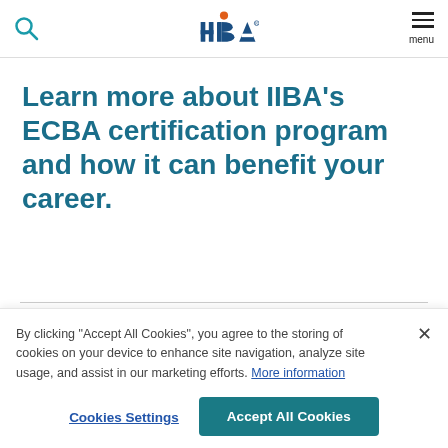IIBA navigation bar with search icon, IIBA logo, and menu
Learn more about IIBA’s ECBA certification program and how it can benefit your career.
By clicking “Accept All Cookies”, you agree to the storing of cookies on your device to enhance site navigation, analyze site usage, and assist in our marketing efforts. More information
Cookies Settings
Accept All Cookies